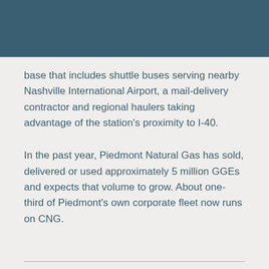base that includes shuttle buses serving nearby Nashville International Airport, a mail-delivery contractor and regional haulers taking advantage of the station's proximity to I-40.
In the past year, Piedmont Natural Gas has sold, delivered or used approximately 5 million GGEs and expects that volume to grow. About one-third of Piedmont's own corporate fleet now runs on CNG.